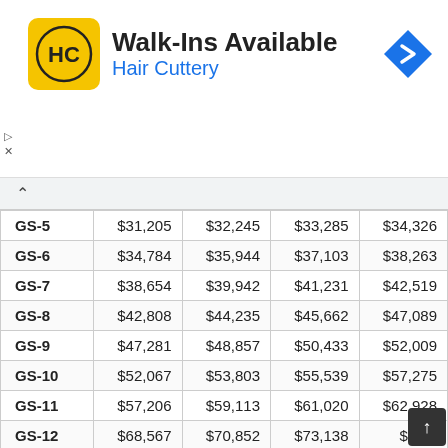[Figure (logo): Hair Cuttery advertisement banner with HC logo, 'Walk-Ins Available' heading, 'Hair Cuttery' subheading in blue, and a navigation icon]
| Grade | Step 1 | Step 2 | Step 3 | Step 4 |
| --- | --- | --- | --- | --- |
| GS-5 | $31,205 | $32,245 | $33,285 | $34,326 |
| GS-6 | $34,784 | $35,944 | $37,103 | $38,263 |
| GS-7 | $38,654 | $39,942 | $41,231 | $42,519 |
| GS-8 | $42,808 | $44,235 | $45,662 | $47,089 |
| GS-9 | $47,281 | $48,857 | $50,433 | $52,009 |
| GS-10 | $52,067 | $53,803 | $55,539 | $57,275 |
| GS-11 | $57,206 | $59,113 | $61,020 | $62,928 |
| GS-12 | $68,567 | $70,852 | $73,138 | $75,4… |
| GS-13 | $81,534 | $84,252 | $86,970 | $89,688 |